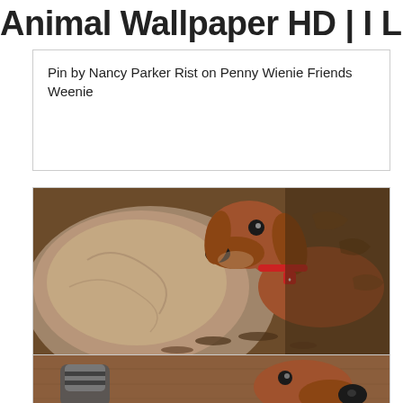Animal Wallpaper HD | I Love Wallpap…
Pin by Nancy Parker Rist on Penny Wienie Friends Weenie
[Figure (photo): A dachshund dog with red collar/tag looking at camera, outdoors near a stone or log, with leaves and dirt on the ground]
Dachshund dog for Adoption in Lewisburg, TN. ADN536401 on
[Figure (photo): Partial photo of a dachshund dog near someone's feet/socks on a wooden floor]